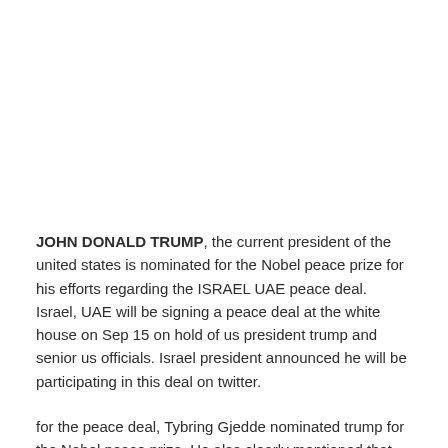JOHN DONALD TRUMP, the current president of the united states is nominated for the Nobel peace prize for his efforts regarding the ISRAEL UAE peace deal. Israel, UAE will be signing a peace deal at the white house on Sep 15 on hold of us president trump and senior us officials. Israel president announced he will be participating in this deal on twitter.
for the peace deal, Tybring Gjedde nominated trump for the Nobel peace prize. He also clearly mentioned that Trump last